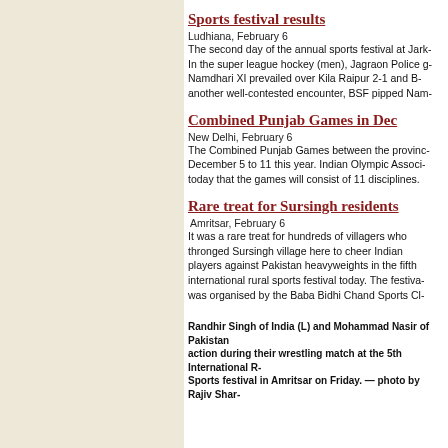Sports festival results
Ludhiana, February 6
The second day of the annual sports festival at Jark- In the super league hockey (men), Jagraon Police g- Namdhari XI prevailed over Kila Raipur 2-1 and B- another well-contested encounter, BSF pipped Nam-
Combined Punjab Games in Dec
New Delhi, February 6
The Combined Punjab Games between the provinc- December 5 to 11 this year. Indian Olympic Associ- today that the games will consist of 11 disciplines.
Rare treat for Sursingh residents
Amritsar, February 6
It was a rare treat for hundreds of villagers who thronged Sursingh village here to cheer Indian players against Pakistan heavyweights in the fifth international rural sports festival today. The festiva- was organised by the Baba Bidhi Chand Sports Cl-
Randhir Singh of India (L) and Mohammad Nasir of Pakistan action during their wrestling match at the 5th International R- Sports festival in Amritsar on Friday. — photo by Rajiv Shar-